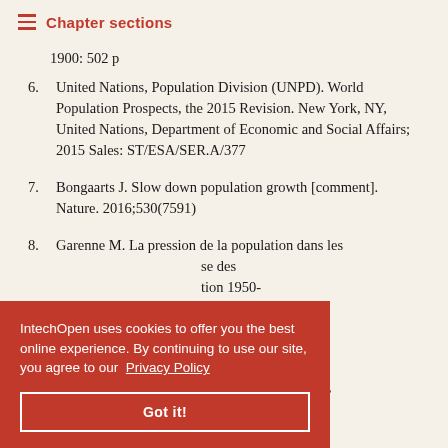Chapter sections
1900: 502 p
6. United Nations, Population Division (UNPD). World Population Prospects, the 2015 Revision. New York, NY, United Nations, Department of Economic and Social Affairs; 2015 Sales: ST/ESA/SER.A/377
7. Bongaarts J. Slow down population growth [comment]. Nature. 2016;530(7591)
8. Garenne M. La pression de la population dans les ... se des ... tion 1950-2016
... Global ... Decades of Population Policies and Programs. Washington,
IntechOpen uses cookies to offer you the best online experience. By continuing to use our site, you agree to our Privacy Policy
Got it!